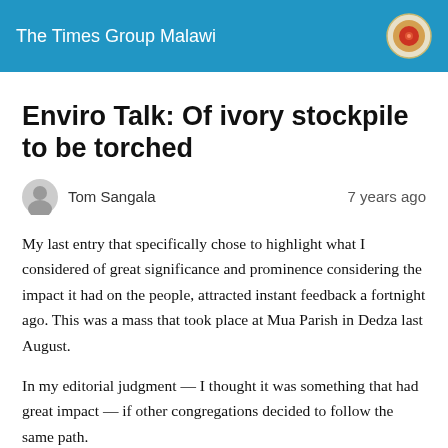The Times Group Malawi
Enviro Talk: Of ivory stockpile to be torched
Tom Sangala   7 years ago
My last entry that specifically chose to highlight what I considered of great significance and prominence considering the impact it had on the people, attracted instant feedback a fortnight ago. This was a mass that took place at Mua Parish in Dedza last August.
In my editorial judgment — I thought it was something that had great impact — if other congregations decided to follow the same path.